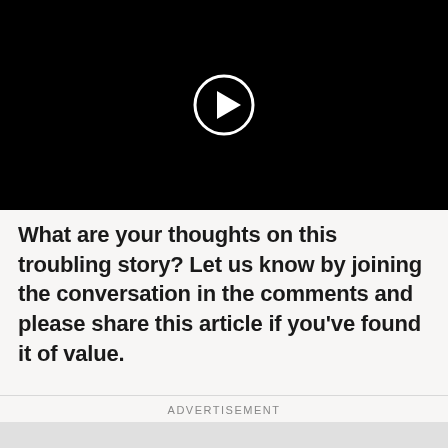[Figure (screenshot): Black video player with a circular white play button in the center]
What are your thoughts on this troubling story? Let us know by joining the conversation in the comments and please share this article if you’ve found it of value.
ADVERTISEMENT